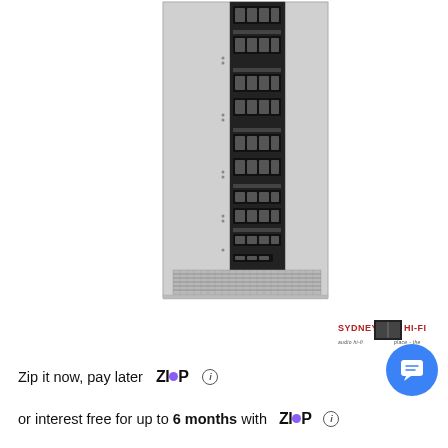[Figure (photo): Tall narrow electronic device (likely a tower amplifier or audio equipment) shown in profile/side view, light gray/silver color with black panel running vertically containing ports and connectors, with ventilation grille at the bottom]
[Figure (logo): Sydney Hi-Fi store logo — text 'SYDNEY' and 'HI-FI' with a small image in the center]
Zip it now, pay later  ZIP  ⓘ
or interest free for up to 6 months with  ZIP  ⓘ